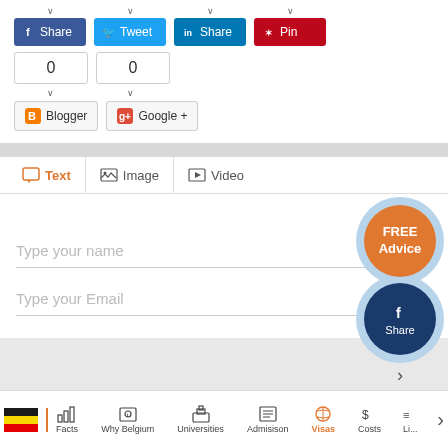[Figure (screenshot): Social share buttons: Facebook Share (blue), Twitter Tweet (light blue), LinkedIn Share (dark blue), Pinterest Pin (red)]
0
0
[Figure (screenshot): Blogger and Google+ share buttons]
[Figure (screenshot): Comment/post form with Text, Image, Video tabs and input fields for name and email]
Type your name
Type your Email
[Figure (infographic): FREE Advice orange circle badge and Facebook Share dark blue circle badge]
Facts | Why Belgium | Universities | Admisison | Visas | Costs | Li...